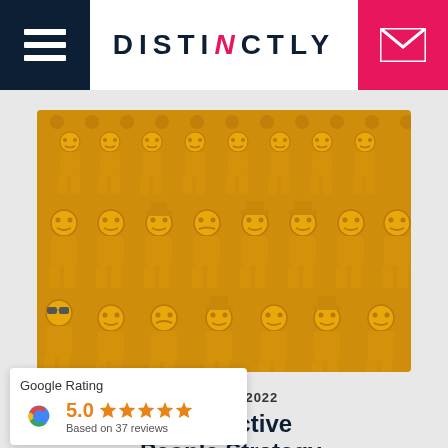[Figure (logo): Distinctly website header with dark navy hamburger menu on left, DISTINCTLY logo in center with pink italic N, and pink email icon on right]
[Figure (photo): Array of golden yellow LEGO minifigures arranged in rows against a golden yellow LEGO brick background]
H JULY 2022
e an effective
People Strategy
[Figure (infographic): Google Rating widget showing 5.0 stars based on 37 reviews]